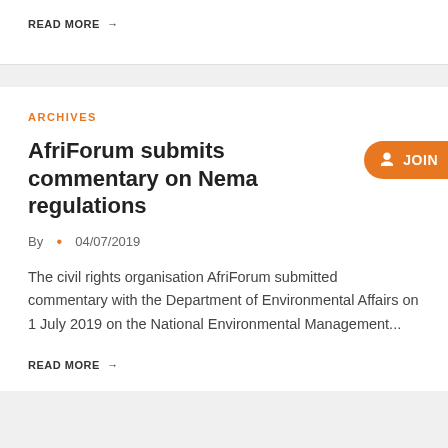READ MORE →
ARCHIVES
AfriForum submits commentary on Nema regulations
By • 04/07/2019
The civil rights organisation AfriForum submitted commentary with the Department of Environmental Affairs on 1 July 2019 on the National Environmental Management...
READ MORE →